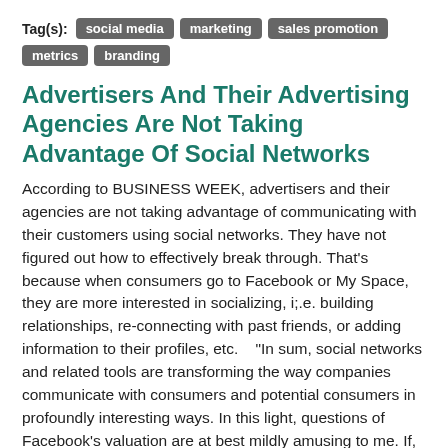Tag(s): social media  marketing  sales promotion  metrics  branding
Advertisers And Their Advertising Agencies Are Not Taking Advantage Of Social Networks
According to BUSINESS WEEK, advertisers and their agencies are not taking advantage of communicating with their customers using social networks. They have not figured out how to effectively break through. That's because when consumers go to Facebook or My Space, they are more interested in socializing, i;.e. building relationships, re-connecting with past friends, or adding information to their profiles, etc.    "In sum, social networks and related tools are transforming the way companies communicate with consumers and potential consumers in profoundly interesting ways. In this light, questions of Facebook's valuation are at best mildly amusing to me. If, as I suspect, Facebook is at the vanguard of transforming how companies reach consumers, $10 billion will some